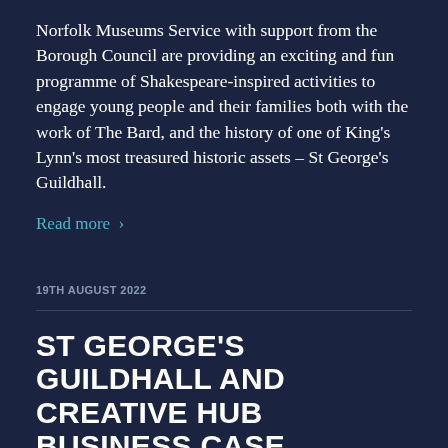Norfolk Museums Service with support from the Borough Council are providing an exciting and fun programme of Shakespeare-inspired activities to engage young people and their families both with the work of The Bard, and the history of one of King's Lynn's most treasured historic assets – St George's Guildhall.
Read more >
19TH AUGUST 2022
ST GEORGE'S GUILDHALL AND CREATIVE HUB BUSINESS CASE SUBMITTED